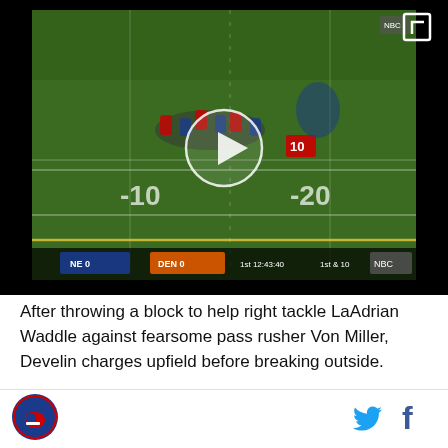[Figure (screenshot): NFL football game footage screenshot showing players on field, with play button overlay. Scoreboard shows NE 0 vs DEN 0, 1st quarter 12:43:40, 1st & 10. NBC Sports logo visible.]
After throwing a block to help right tackle LaAdrian Waddle against fearsome pass rusher Von Miller, Develin charges upfield before breaking outside.
The fullback may not appear to have had much of an impact on the play at first glance. However, upon
[Figure (logo): Sports website circular logo, blue background with helmet graphic]
[Figure (logo): Twitter bird icon in cyan blue]
[Figure (logo): Facebook f icon in dark blue]